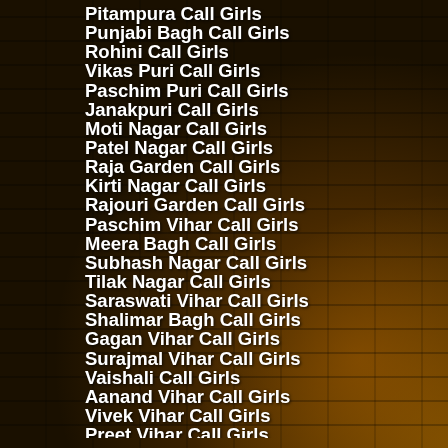Pitampura Call Girls
Punjabi Bagh Call Girls
Rohini Call Girls
Vikas Puri Call Girls
Paschim Puri Call Girls
Janakpuri Call Girls
Moti Nagar Call Girls
Patel Nagar Call Girls
Raja Garden Call Girls
Kirti Nagar Call Girls
Rajouri Garden Call Girls
Paschim Vihar Call Girls
Meera Bagh Call Girls
Subhash Nagar Call Girls
Tilak Nagar Call Girls
Saraswati Vihar Call Girls
Shalimar Bagh Call Girls
Gagan Vihar Call Girls
Surajmal Vihar Call Girls
Vaishali Call Girls
Aanand Vihar Call Girls
Vivek Vihar Call Girls
Preet Vihar Call Girls